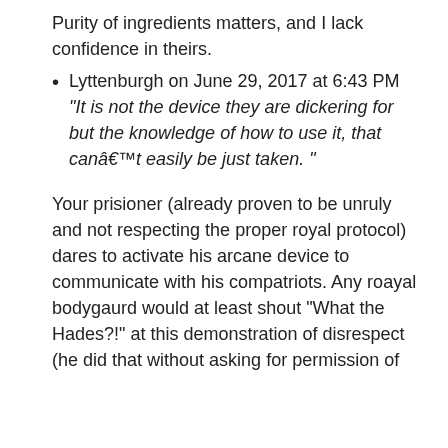Purity of ingredients matters, and I lack confidence in theirs.
Lyttenburgh on June 29, 2017 at 6:43 PM
“It is not the device they are dickering for but the knowledge of how to use it, that canâ€™t easily be just taken. ”
Your prisioner (already proven to be unruly and not respecting the proper royal protocol) dares to activate his arcane device to communicate with his compatriots. Any roayal bodygaurd would at least shout “What the Hades?!” at this demonstration of disrespect (he did that without asking for permission of